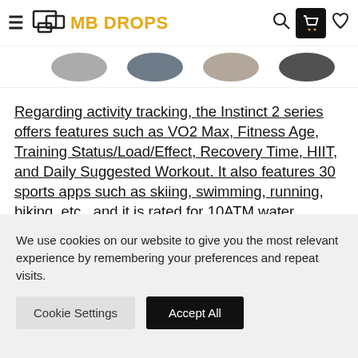MB DROPS
[Figure (photo): Partial product image strip showing watch color variants at top of page]
Regarding activity tracking, the Instinct 2 series offers features such as VO2 Max, Fitness Age, Training Status/Load/Effect, Recovery Time, HIIT, and Daily Suggested Workout. It also features 30 sports apps such as skiing, swimming, running, biking, etc., and it is rated for 10ATM water resistance.
We use cookies on our website to give you the most relevant experience by remembering your preferences and repeat visits.